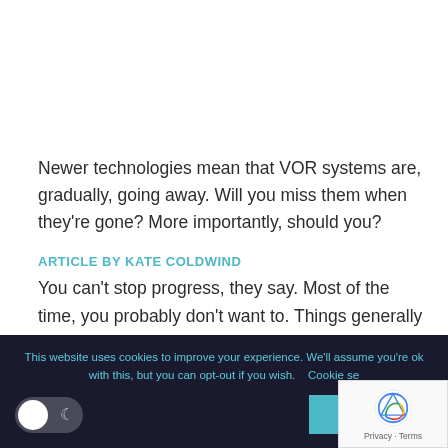Newer technologies mean that VOR systems are, gradually, going away. Will you miss them when they're gone? More importantly, should you?
ARTICLE BY KATE COLDWIND
You can't stop progress, they say. Most of the time, you probably don't want to. Things generally seem to improve over time – usually. Technology gets more and
This website uses cookies to improve your experience. We'll assume you're ok with this, but you can opt-out if you wish.    Cookie se
ACCEPT
[Figure (logo): reCAPTCHA logo with Privacy and Terms links]